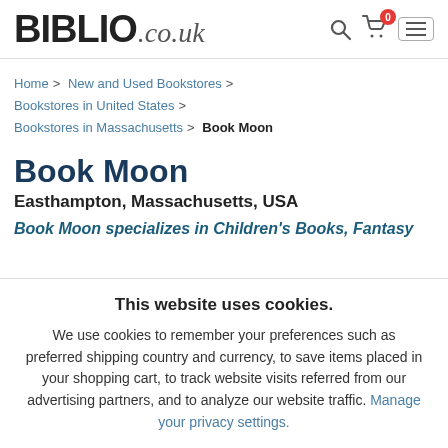BIBLIO.co.uk
Home > New and Used Bookstores > Bookstores in United States > Bookstores in Massachusetts > Book Moon
Book Moon
Easthampton, Massachusetts, USA
Book Moon specializes in Children's Books, Fantasy
This website uses cookies.
We use cookies to remember your preferences such as preferred shipping country and currency, to save items placed in your shopping cart, to track website visits referred from our advertising partners, and to analyze our website traffic. Manage your privacy settings.
AGREE AND CLOSE